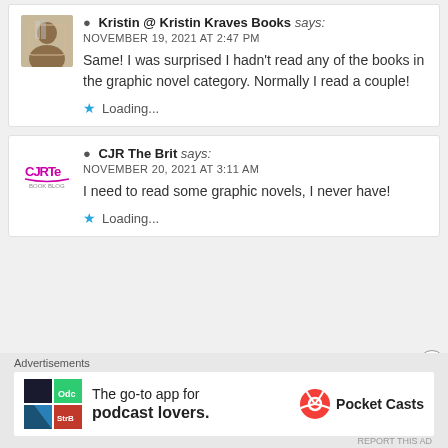Kristin @ Kristin Kraves Books says:
NOVEMBER 19, 2021 AT 2:47 PM
Same! I was surprised I hadn't read any of the books in the graphic novel category. Normally I read a couple!
Loading...
CJR The Brit says:
NOVEMBER 20, 2021 AT 3:11 AM
I need to read some graphic novels, I never have!
Loading...
Advertisements
The go-to app for podcast lovers. Pocket Casts